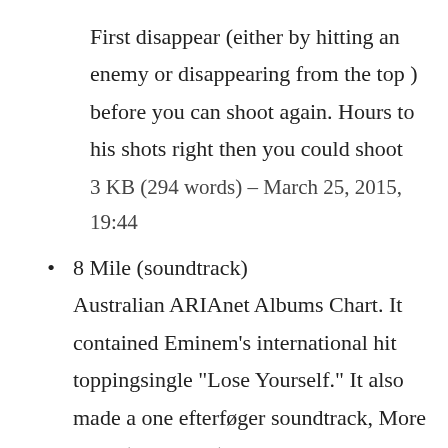First disappear (either by hitting an enemy or disappearing from the top ) before you can shoot again. Hours to his shots right then you could shoot
3 KB (294 words) – March 25, 2015, 19:44
8 Mile (soundtrack)
Australian ARIAnet Albums Chart. It contained Eminem’s international hit toppingsingle “Lose Yourself.” It also made a one efterføger soundtrack, More
5 KB (244 words) – March 10, 2013, 08:53